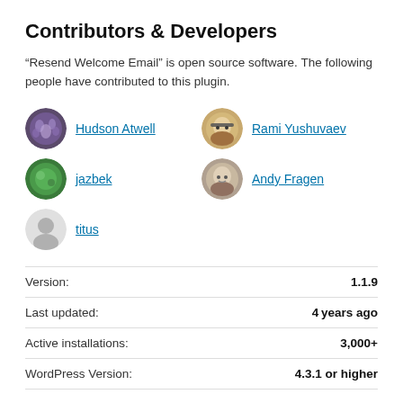Contributors & Developers
“Resend Welcome Email” is open source software. The following people have contributed to this plugin.
Hudson Atwell
Rami Yushuvaev
jazbek
Andy Fragen
titus
| Label | Value |
| --- | --- |
| Version: | 1.1.9 |
| Last updated: | 4 years ago |
| Active installations: | 3,000+ |
| WordPress Version: | 4.3.1 or higher |